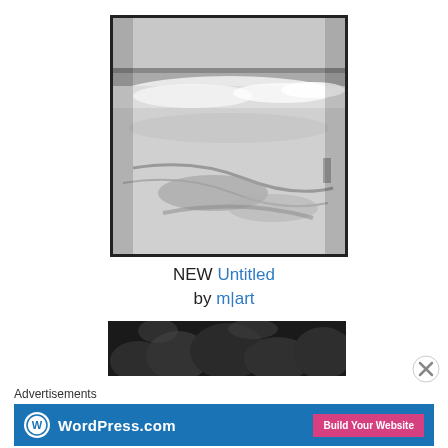[Figure (photo): Black and white photograph of a beach scene with ocean waves crashing on shore, taken from a low angle showing wet sand and foam in the foreground with waves and horizon in the background. Image has a dark border frame.]
NEW Untitled
by m|art
[Figure (photo): Black and white photograph showing dark treetops against a light sky, partially visible at the top.]
Advertisements
[Figure (infographic): WordPress.com advertisement banner with blue background, WordPress logo on the left, and a pink 'Build Your Website' button on the right.]